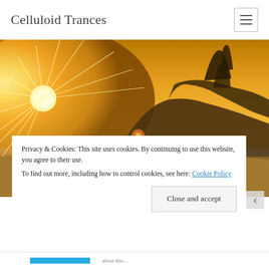Celluloid Trances
[Figure (photo): A dramatic sunset landscape with golden rays of sunlight bursting through trees on rolling hills, with rocky dry ground in the foreground. Warm golden-orange tones throughout.]
Privacy & Cookies: This site uses cookies. By continuing to use this website, you agree to their use.
To find out more, including how to control cookies, see here: Cookie Policy
Close and accept